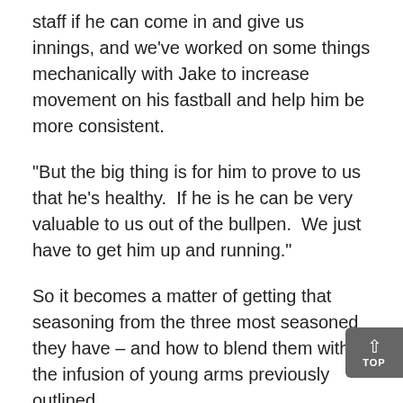staff if he can come in and give us innings, and we've worked on some things mechanically with Jake to increase movement on his fastball and help him be more consistent.
“But the big thing is for him to prove to us that he’s healthy.  If he is he can be very valuable to us out of the bullpen.  We just have to get him up and running.”
So it becomes a matter of getting that seasoning from the three most seasoned they have – and how to blend them with the infusion of young arms previously outlined.
The bottom line.  Murphy, Gahm, and Vance can all get hitters out.  They’ve done it before.  Now they face an opponent much bigger than Michigan and